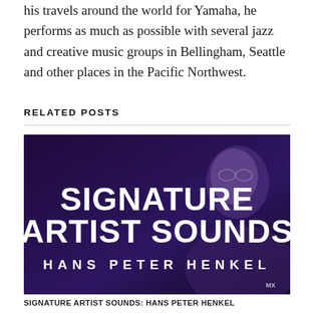his travels around the world for Yamaha, he performs as much as possible with several jazz and creative music groups in Bellingham, Seattle and other places in the Pacific Northwest.
RELATED POSTS
[Figure (photo): Promotional image with a dark purple-toned background showing a man smiling with glasses. Large bold white text reads 'SIGNATURE ARTIST SOUNDS' and below in spaced capitals 'HANS PETER HENKEL'. A small logo appears at the bottom right.]
SIGNATURE ARTIST SOUNDS: HANS PETER HENKEL